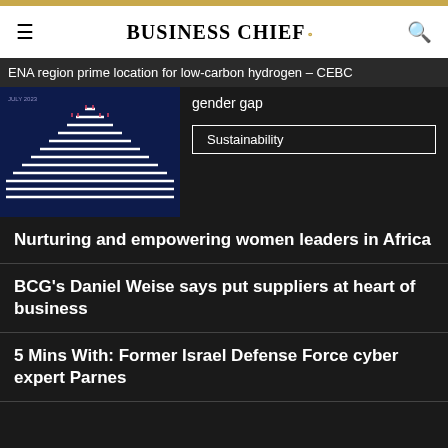BUSINESS CHIEF
ENA region prime location for low-carbon hydrogen – CEBO
[Figure (illustration): Pyramid chart graphic on dark blue background with horizontal lines representing data tiers]
gender gap
Sustainability
Nurturing and empowering women leaders in Africa
BCG's Daniel Weise says put suppliers at heart of business
5 Mins With: Former Israel Defense Force cyber expert Parnes